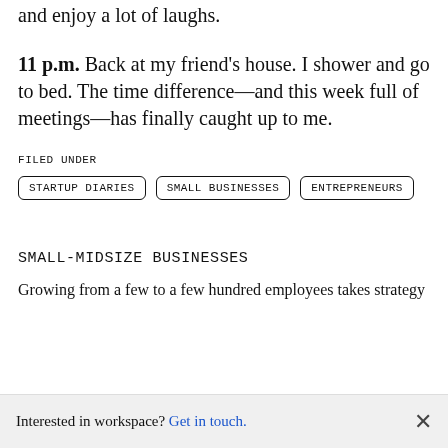and enjoy a lot of laughs.
11 p.m. Back at my friend's house. I shower and go to bed. The time difference—and this week full of meetings—has finally caught up to me.
FILED UNDER
STARTUP DIARIES
SMALL BUSINESSES
ENTREPRENEURS
SMALL-MIDSIZE BUSINESSES
Growing from a few to a few hundred employees takes strategy
Interested in workspace? Get in touch.